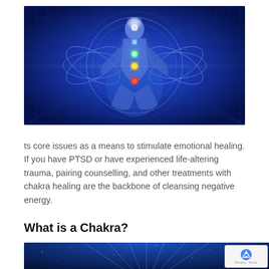[Figure (illustration): A glowing human silhouette in a lotus meditation pose with colorful chakra energy points (white/blue at crown, green at heart, yellow at solar plexus, red at root), surrounded by blue energy fields, sacred geometry circles, and geometric grid lines on a deep blue background.]
ts core issues as a means to stimulate emotional healing. If you have PTSD or have experienced life-altering trauma, pairing counselling, and other treatments with chakra healing are the backbone of cleansing negative energy.
What is a Chakra?
[Figure (illustration): Bottom portion of a blue cosmic/spiritual background image showing a chakra or energy symbol with radiating lines against a deep blue starfield background.]